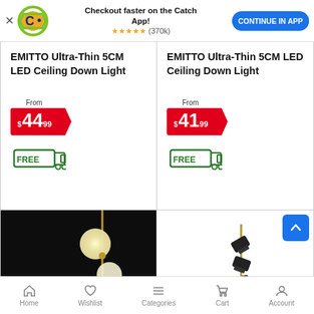[Figure (screenshot): Catch app promotional banner with logo, headline 'Checkout faster on the Catch App!', 5-star rating (370k reviews), and 'CONTINUE IN APP' button]
EMITTO Ultra-Thin 5CM LED Ceiling Down Light
From $44.99
FREE shipping
EMITTO Ultra-Thin 5CM LED Ceiling Down Light
From $41.99
FREE shipping
[Figure (photo): Dark background photo showing two globe pendant lights on a brass pole]
[Figure (photo): White background photo showing a black adjustable spotlight on a brass stand]
Home   Wishlist   Categories   Cart   Account